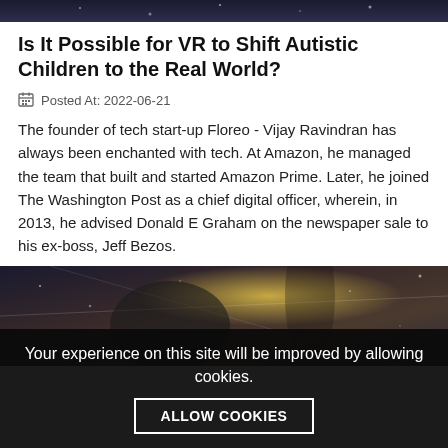[Figure (photo): Top portion of a VR/technology themed image with dark blue starry background]
Is It Possible for VR to Shift Autistic Children to the Real World?
📅 Posted At: 2022-06-21
The founder of tech start-up Floreo - Vijay Ravindran has always been enchanted with tech. At Amazon, he managed the team that built and started Amazon Prime. Later, he joined The Washington Post as a chief digital officer, wherein, in 2013, he advised Donald E Graham on the newspaper sale to his ex-boss, Jeff Bezos.
View more >
[Figure (photo): Person holding a VR headset with hands raised, glowing light effects against a starry dark background]
Your experience on this site will be improved by allowing cookies. ALLOW COOKIES